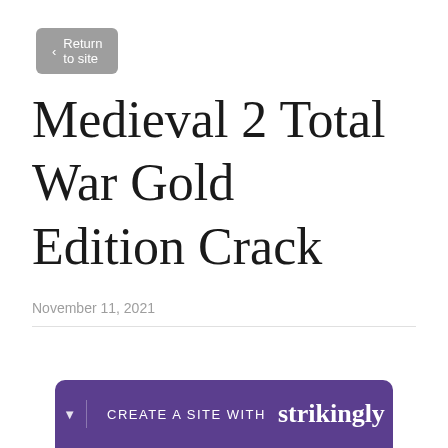< Return to site
Medieval 2 Total War Gold Edition Crack
November 11, 2021
[Figure (other): Pink download button with text DOWNLOAD]
[Figure (other): Purple Strikingly banner bar with text CREATE A SITE WITH strikingly]